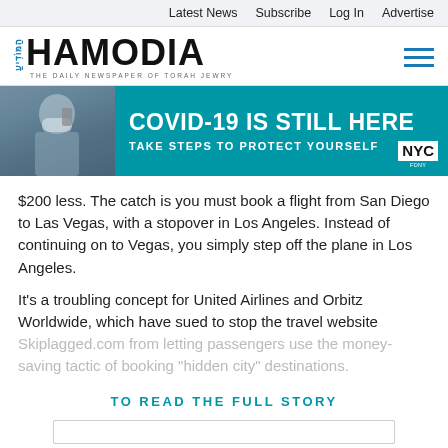Latest News  Subscribe  Log In  Advertise
[Figure (logo): Hamodia newspaper logo with Hebrew letters and tagline 'THE DAILY NEWSPAPER OF TORAH JEWRY']
[Figure (infographic): COVID-19 public health banner: 'COVID-19 IS STILL HERE - TAKE STEPS TO PROTECT YOURSELF' with NYC branding, showing person wearing mask on phone]
$200 less. The catch is you must book a flight from San Diego to Las Vegas, with a stopover in Los Angeles. Instead of continuing on to Vegas, you simply step off the plane in Los Angeles.
It's a troubling concept for United Airlines and Orbitz Worldwide, which have sued to stop the travel website Skiplagged.com from letting passengers use the money-saving tactic of booking "hidden city" destinations.
TO READ THE FULL STORY